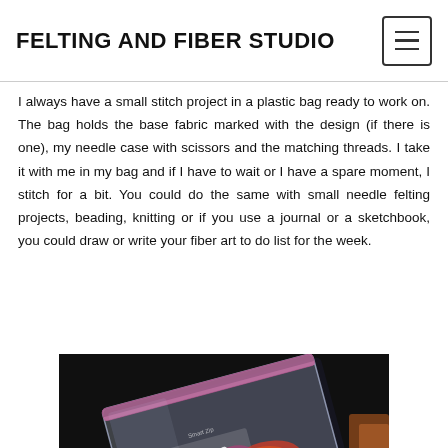FELTING AND FIBER STUDIO
I always have a small stitch project in a plastic bag ready to work on. The bag holds the base fabric marked with the design (if there is one), my needle case with scissors and the matching threads. I take it with me in my bag and if I have to wait or I have a spare moment, I stitch for a bit. You could do the same with small needle felting projects, beading, knitting or if you use a journal or a sketchbook, you could draw or write your fiber art to do list for the week.
[Figure (photo): A Ziploc plastic bag on a dark background, containing colorful fiber/thread materials, photographed from above at an angle.]